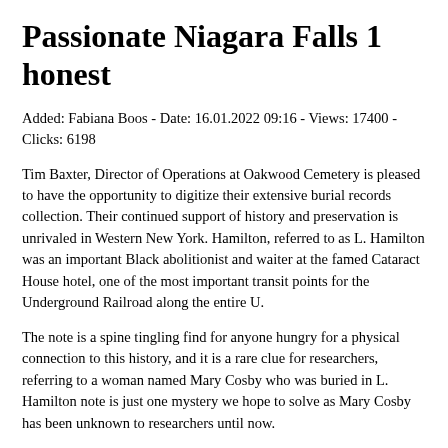Passionate Niagara Falls 1 honest
Added: Fabiana Boos - Date: 16.01.2022 09:16 - Views: 17400 - Clicks: 6198
Tim Baxter, Director of Operations at Oakwood Cemetery is pleased to have the opportunity to digitize their extensive burial records collection. Their continued support of history and preservation is unrivaled in Western New York. Hamilton, referred to as L. Hamilton was an important Black abolitionist and waiter at the famed Cataract House hotel, one of the most important transit points for the Underground Railroad along the entire U.
The note is a spine tingling find for anyone hungry for a physical connection to this history, and it is a rare clue for researchers, referring to a woman named Mary Cosby who was buried in L. Hamilton note is just one mystery we hope to solve as Mary Cosby has been unknown to researchers until now.
Preliminary work has also begun on a master index that will serve as a searchable finding aid. The NFNHA will fund Phase II of the